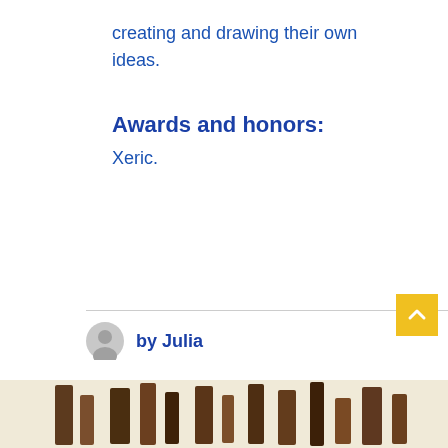creating and drawing their own ideas.
Awards and honors:
Xeric.
by Julia
[Figure (illustration): Partial view of a decorative image with brown/cream striped or patterned elements at the bottom of the page.]